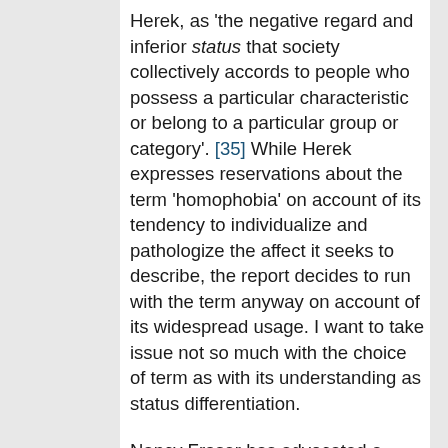Herek, as 'the negative regard and inferior status that society collectively accords to people who possess a particular characteristic or belong to a particular group or category'. [35] While Herek expresses reservations about the term 'homophobia' on account of its tendency to individualize and pathologize the affect it seeks to describe, the report decides to run with the term anyway on account of its widespread usage. I want to take issue not so much with the choice of term as with its understanding as status differentiation.
Nancy Fraser has advocated a 'bifocal' conception of